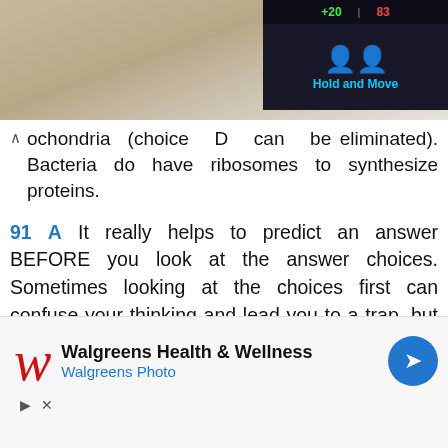[Figure (screenshot): Top portion showing a dark game UI overlay with score bar showing +20 and 83, and 'Hold and Move' label, over a nature/outdoor background image.]
ochondria (choice D can be eliminated). Bacteria do have ribosomes to synthesize proteins.
91 A It really helps to predict an answer BEFORE you look at the answer choices. Sometimes looking at the choices first can confuse your thinking and lead you to a trap, but if you have an idea of the correct answer before you look at the choices, you
[Figure (screenshot): Walgreens Health & Wellness / Walgreens Photo advertisement banner with red W logo and blue navigation arrow icon.]